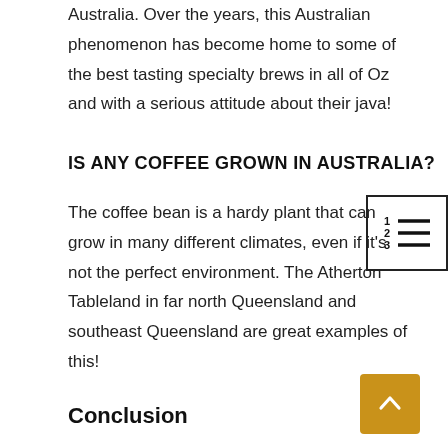Australia. Over the years, this Australian phenomenon has become home to some of the best tasting specialty brews in all of Oz and with a serious attitude about their java!
IS ANY COFFEE GROWN IN AUSTRALIA?
The coffee bean is a hardy plant that can grow in many different climates, even if it's not the perfect environment. The Atherton Tableland in far north Queensland and southeast Queensland are great examples of this!
Conclusion